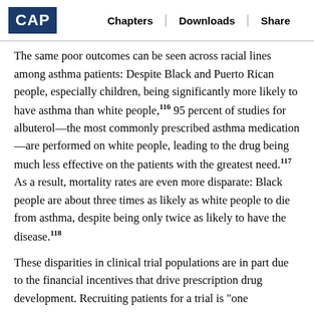CAP | Chapters | Downloads | Share
The same poor outcomes can be seen across racial lines among asthma patients: Despite Black and Puerto Rican people, especially children, being significantly more likely to have asthma than white people,116 95 percent of studies for albuterol—the most commonly prescribed asthma medication—are performed on white people, leading to the drug being much less effective on the patients with the greatest need.117 As a result, mortality rates are even more disparate: Black people are about three times as likely as white people to die from asthma, despite being only twice as likely to have the disease.118
These disparities in clinical trial populations are in part due to the financial incentives that drive prescription drug development. Recruiting patients for a trial is "one